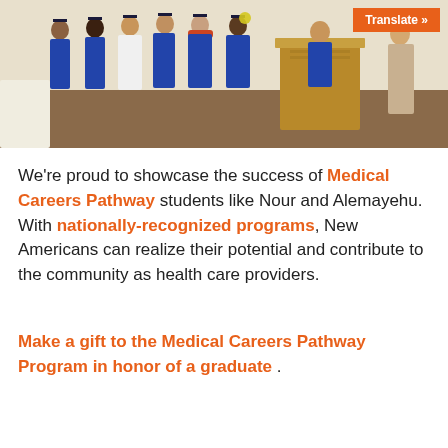[Figure (photo): Group of graduates in blue caps and gowns standing at a podium in a room, some clapping. An orange 'Translate »' button overlay appears in the top right corner.]
We're proud to showcase the success of Medical Careers Pathway students like Nour and Alemayehu. With nationally-recognized programs, New Americans can realize their potential and contribute to the community as health care providers.
Make a gift to the Medical Careers Pathway Program in honor of a graduate .